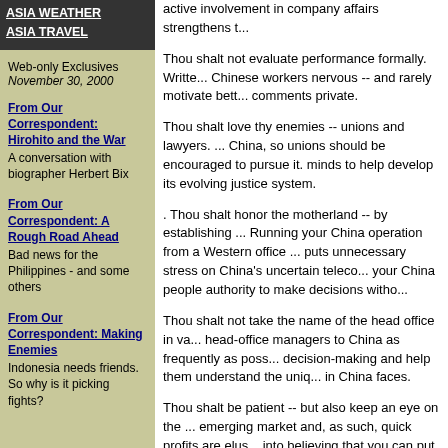ASIA WEATHER
ASIA TRAVEL
Web-only Exclusives
November 30, 2000
From Our Correspondent: Hirohito and the War
A conversation with biographer Herbert Bix
From Our Correspondent: A Rough Road Ahead
Bad news for the Philippines - and some others
From Our Correspondent: Making Enemies
Indonesia needs friends. So why is it picking fights?
active involvement in company affairs strengthens t...
Thou shalt not evaluate performance formally. Writte... Chinese workers nervous -- and rarely motivate bett... comments private.
Thou shalt love thy enemies -- unions and lawyers. ... China, so unions should be encouraged to pursue it. minds to help develop its evolving justice system.
. Thou shalt honor the motherland -- by establishing ... Running your China operation from a Western office ... puts unnecessary stress on China's uncertain teleco... your China people authority to make decisions witho...
Thou shalt not take the name of the head office in va... head-office managers to China as frequently as poss... decision-making and help them understand the uniq... in China faces.
Thou shalt be patient -- but also keep an eye on the ... emerging market and, as such, quick profits are elus... into believing that you can put up with big losses now... gold down the road. Keep the red ink contained.
Thou shalt remember that things always change. Su... prepared to shift gears at a moment's notice. Today's... next month's new tax. Learn to think ahead.
Thou shalt not keep conventional wisdom sacred. G... mastered the regulations and precedents -- but they... knowledge has become useless. What worked yeste...